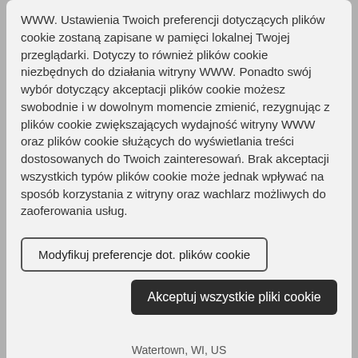WWW. Ustawienia Twoich preferencji dotyczących plików cookie zostaną zapisane w pamięci lokalnej Twojej przeglądarki. Dotyczy to również plików cookie niezbędnych do działania witryny WWW. Ponadto swój wybór dotyczący akceptacji plików cookie możesz swobodnie i w dowolnym momencie zmienić, rezygnując z plików cookie zwiększających wydajność witryny WWW oraz plików cookie służących do wyświetlania treści dostosowanych do Twoich zainteresowań. Brak akceptacji wszystkich typów plików cookie może jednak wpływać na sposób korzystania z witryny oraz wachlarz możliwych do zaoferowania usług.
Modyfikuj preferencje dot. plików cookie
Akceptuj wszystkie pliki cookie
Watertown, WI, US